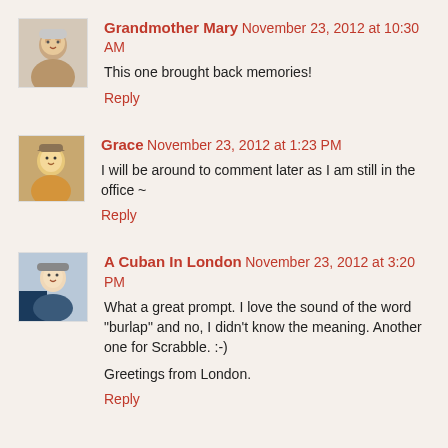Grandmother Mary  November 23, 2012 at 10:30 AM
This one brought back memories!
Reply
Grace  November 23, 2012 at 1:23 PM
I will be around to comment later as I am still in the office ~
Reply
A Cuban In London  November 23, 2012 at 3:20 PM
What a great prompt. I love the sound of the word "burlap" and no, I didn't know the meaning. Another one for Scrabble. :-)
Greetings from London.
Reply